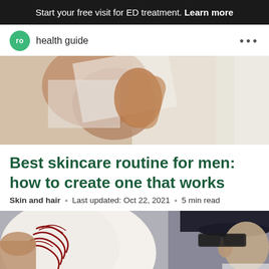Start your free visit for ED treatment. Learn more
ro  health guide
[Figure (photo): Close-up of a person applying or washing their face with a white towel, skin and skincare context]
Best skincare routine for men: how to create one that works
Skin and hair · Last updated: Oct 22, 2021 · 5 min read
[Figure (photo): Close-up of a hand holding a baseball, with a person wearing a black cap visible in the background]